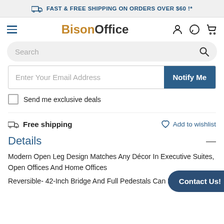FAST & FREE SHIPPING ON ORDERS OVER $60 !*
BisonOffice
[Figure (screenshot): Search bar with placeholder text 'Search' and magnifying glass icon]
Enter Your Email Address
Notify Me
Send me exclusive deals
Free shipping
Add to wishlist
Details
Modern Open Leg Design Matches Any Décor In Executive Suites, Open Offices And Home Offices
Reversible- 42-Inch Bridge And Full Pedestals Can Be
Contact Us!